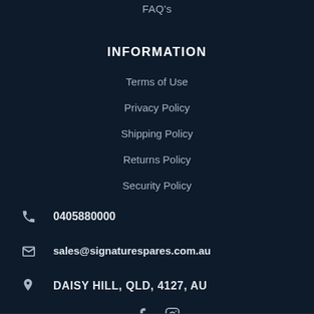FAQ's
INFORMATION
Terms of Use
Privacy Policy
Shipping Policy
Returns Policy
Security Policy
0405880000
sales@signaturespares.com.au
DAISY HILL, QLD, 4127, AU
[Figure (illustration): Social media icons: Facebook and Instagram]